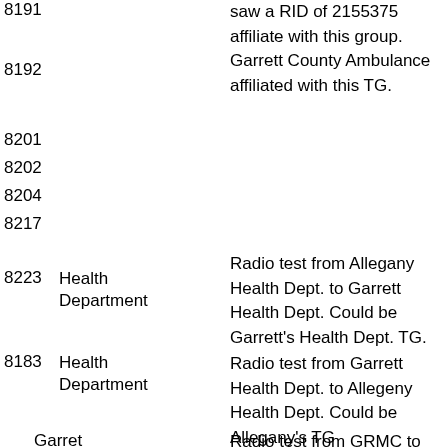8191
saw a RID of 2155375 affiliate with this group. Garrett County Ambulance affiliated with this TG.
8192
8201
8202
8204
8217
8223 Health Department
Radio test from Allegany Health Dept. to Garrett Health Dept. Could be Garrett's Health Dept. TG.
8183 Health Department
Radio test from Garrett Health Dept. to Allegeny Health Dept. Could be Allegany's TG
8148 Garret Regional...
Radio test from GRMC to